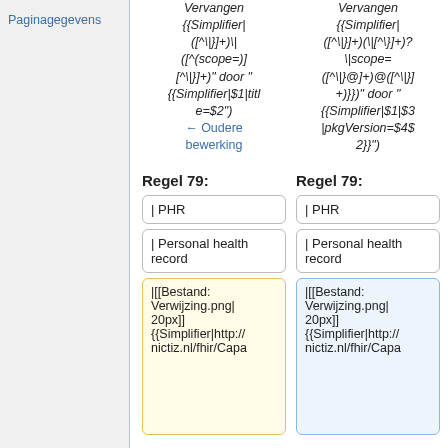Paginagegevens
Vervangen {{Simplifier|([^\|}]+)\|([^(scope=)]  [^\|}]+)" door "{{Simplifier|$1|title=$2")
Vervangen {{Simplifier|([^\|}]+)(\|[^\}]+)?\|scope= ([^\|}@]+)@([^\|}]+)}}" door "{{Simplifier|$1|$3|pkgVersion=$4$2}}")
← Oudere bewerking
Regel 79:
Regel 79:
| PHR
| PHR
| Personal health record
| Personal health record
|[[Bestand:Verwijzing.png|20px]] {{Simplifier|http://nictiz.nl/fhir/Capa
|[[Bestand:Verwijzing.png|20px]] {{Simplifier|http://nictiz.nl/fhir/Capa